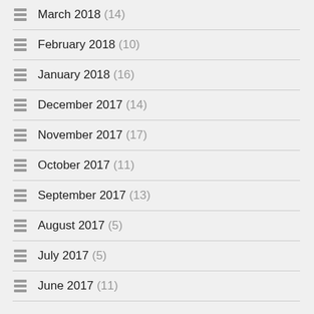March 2018 (14)
February 2018 (10)
January 2018 (16)
December 2017 (14)
November 2017 (17)
October 2017 (11)
September 2017 (13)
August 2017 (5)
July 2017 (5)
June 2017 (11)